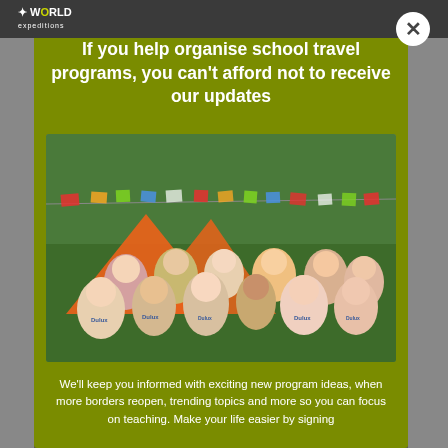If you help organise school travel programs, you can't afford not to receive our updates
[Figure (photo): Group of teenagers and a local child sitting on grass in front of orange camping tents decorated with colorful prayer flags, all smiling and posing for the camera. Many are wearing Dulux branded t-shirts.]
We'll keep you informed with exciting new program ideas, when more borders reopen, trending topics and more so you can focus on teaching. Make your life easier by signing